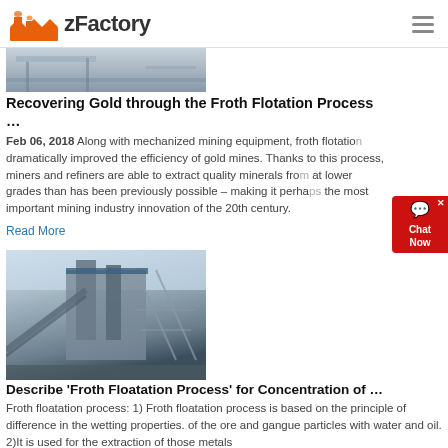zFactory
[Figure (photo): Industrial facility or mining equipment, top portion visible]
Recovering Gold through the Froth Flotation Process …
Feb 06, 2018  Along with mechanized mining equipment, froth flotation dramatically improved the efficiency of gold mines. Thanks to this process, miners and refiners are able to extract quality minerals from at lower grades than has been previously possible – making it perhaps the most important mining industry innovation of the 20th century.
Read More
[Figure (photo): Large industrial mining plant structure with conveyor belts and scaffolding]
Describe 'Froth Floatation Process' for Concentration of …
Froth floatation process: 1) Froth floatation process is based on the principle of difference in the wetting properties. of the ore and gangue particles with water and oil. 2)It is used for the extraction of those metals